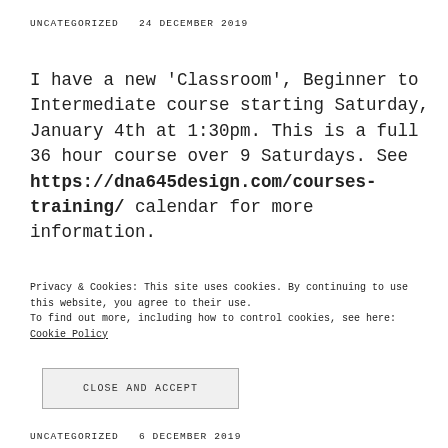UNCATEGORIZED   24 DECEMBER 2019
I have a new 'Classroom', Beginner to Intermediate course starting Saturday, January 4th at 1:30pm. This is a full 36 hour course over 9 Saturdays. See https://dna645design.com/courses-training/ calendar for more information.
Privacy & Cookies: This site uses cookies. By continuing to use this website, you agree to their use.
To find out more, including how to control cookies, see here: Cookie Policy
CLOSE AND ACCEPT
UNCATEGORIZED   6 DECEMBER 2019